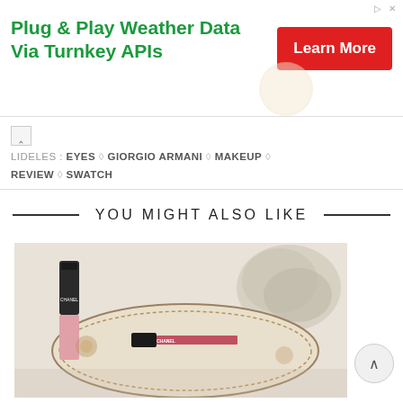[Figure (screenshot): Advertisement banner: 'Plug & Play Weather Data Via Turnkey APIs' with a red 'Learn More' button on the right and a weather-related background image.]
LIDELES : EYES ◇ GIORGIO ARMANI ◇ MAKEUP ◇ REVIEW ◇ SWATCH
YOU MIGHT ALSO LIKE
[Figure (photo): Photo of Chanel lipstick and lip gloss products on an ornate vintage tray with a decorative ceramic flower in the background.]